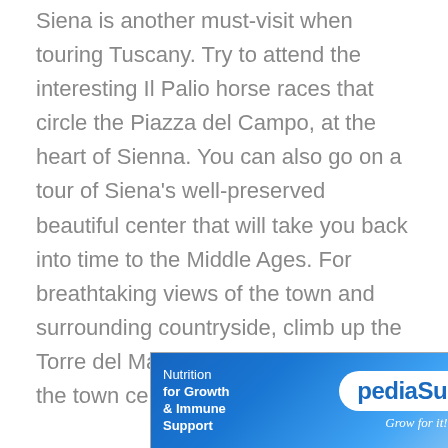Siena is another must-visit when touring Tuscany. Try to attend the interesting Il Palio horse races that circle the Piazza del Campo, at the heart of Sienna. You can also go on a tour of Siena's well-preserved beautiful center that will take you back into time to the Middle Ages. For breathtaking views of the town and surrounding countryside, climb up the Torre del Mangia, a tall bell tower in the town center.

Wine lovers visiting Tuscany can also enjoy Chianti wine right in its home region, which rests between Florence and Siena...
[Figure (other): PediaSure advertisement banner. Left side: 'Nutrition for Growth & Immune Support' text in white on blue gradient background. Right side: PediaSure logo in white bubble with 'Grow for it!' tagline in white italic text. Small play and close icons in top right corner.]